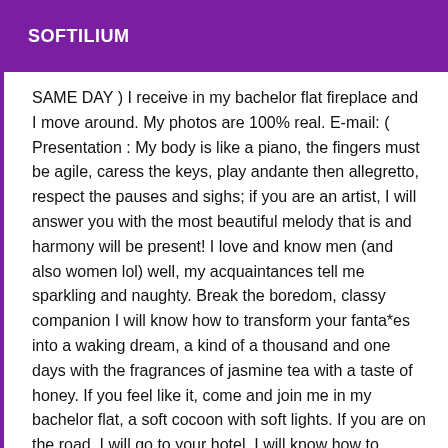SOFTILIUM
SAME DAY )  I receive in my bachelor flat fireplace and I move around. My photos are 100% real.  E-mail: ( Presentation :  My body is like a piano, the fingers must be agile, caress the keys, play andante then allegretto, respect the pauses and sighs; if you are an artist, I will answer you with the most beautiful melody that is and harmony will be present!  I love and know men (and also women lol) well, my acquaintances tell me sparkling and naughty. Break the boredom, classy companion I will know how to transform your fanta*es into a waking dream, a kind of a thousand and one days with the fragrances of jasmine tea with a taste of honey.  If you feel like it, come and join me in my bachelor flat, a soft cocoon with soft lights. If you are on the road, I will go to your hotel. I will know how to cuddle you in my den -temple of desire-.  Libertine, I will initiate you to the refinement of Pleasure in its raw state. A threesome